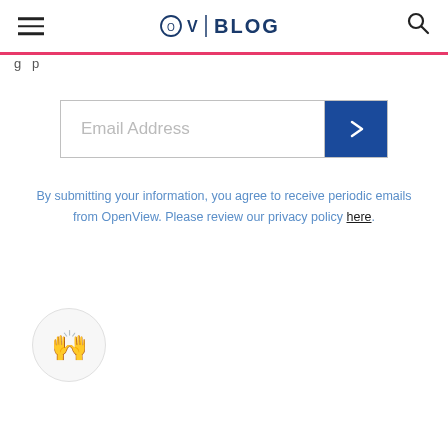OV | BLOG
g p
[Figure (screenshot): Email address input field with a dark blue submit arrow button on the right]
By submitting your information, you agree to receive periodic emails from OpenView. Please review our privacy policy here.
[Figure (illustration): Circular avatar icon with raised hands emoji on light grey background]